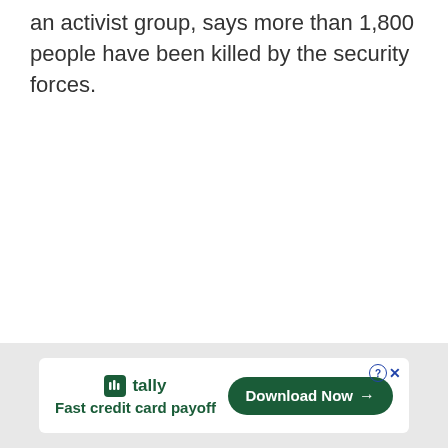an activist group, says more than 1,800 people have been killed by the security forces.
[Figure (other): Advertisement banner for Tally app — 'Fast credit card payoff' with a 'Download Now' button]